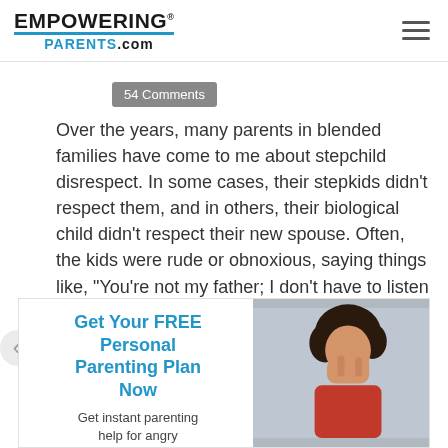EMPOWERING® PARENTS.com
54 Comments
Over the years, many parents in blended families have come to me about stepchild disrespect. In some cases, their stepkids didn't respect them, and in others, their biological child didn't respect their new spouse. Often, the kids were rude or obnoxious, saying things like, "You're not my father; I don't have to listen to you!"...
Read more »
[Figure (infographic): Ad banner: Get Your FREE Personal Parenting Plan Now. Get instant parenting help for angry outbursts, with photo of a woman covering her face.]